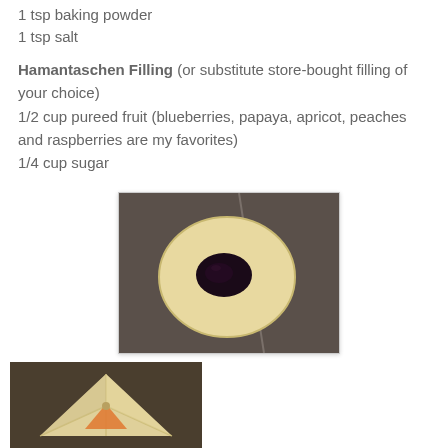1 tsp baking powder
1 tsp salt
Hamantaschen Filling (or substitute store-bought filling of your choice)
1/2 cup pureed fruit (blueberries, papaya, apricot, peaches and raspberries are my favorites)
1/4 cup sugar
[Figure (photo): Round dough circle with dark blueberry filling in the center, placed on a dark baking sheet]
[Figure (photo): Folded triangular hamantaschen cookie with orange filling visible in the center, on a dark baking sheet]